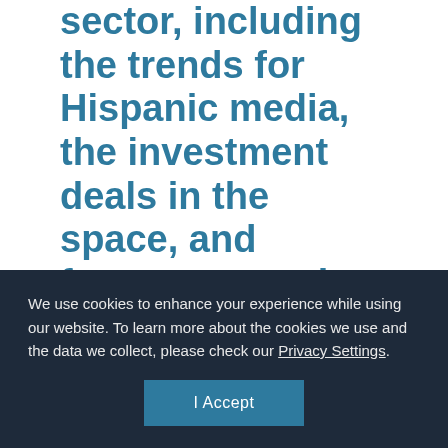sector, including the trends for Hispanic media, the investment deals in the space, and forecasts moving forward.
HISPANIC
We use cookies to enhance your experience while using our website. To learn more about the cookies we use and the data we collect, please check our Privacy Settings.
I Accept